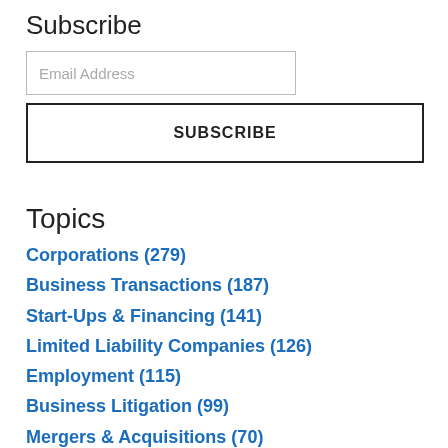Subscribe
Email Address
SUBSCRIBE
Topics
Corporations (279)
Business Transactions (187)
Start-Ups & Financing (141)
Limited Liability Companies (126)
Employment (115)
Business Litigation (99)
Mergers & Acquisitions (70)